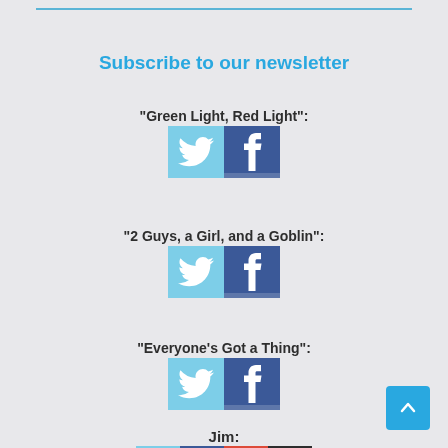Subscribe to our newsletter
"Green Light, Red Light":
[Figure (illustration): Twitter bird icon (light blue background) and Facebook 'f' icon (dark blue background) for Green Light, Red Light]
"2 Guys, a Girl, and a Goblin":
[Figure (illustration): Twitter bird icon (light blue background) and Facebook 'f' icon (dark blue background) for 2 Guys, a Girl, and a Goblin]
"Everyone's Got a Thing":
[Figure (illustration): Twitter bird icon (light blue background) and Facebook 'f' icon (dark blue background) for Everyone's Got a Thing]
Jim:
[Figure (illustration): Twitter, Facebook, Google+, and WordPress icons for Jim]